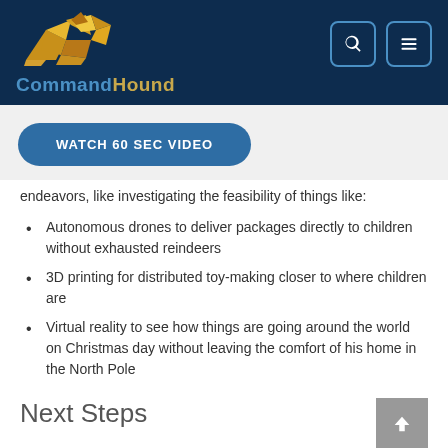[Figure (logo): CommandHound logo with golden geometric dog and blue text 'CommandHound']
WATCH 60 SEC VIDEO
endeavors, like investigating the feasibility of things like:
Autonomous drones to deliver packages directly to children without exhausted reindeers
3D printing for distributed toy-making closer to where children are
Virtual reality to see how things are going around the world on Christmas day without leaving the comfort of his home in the North Pole
Next Steps
Accountability is key for any high-performance organization (HPO)